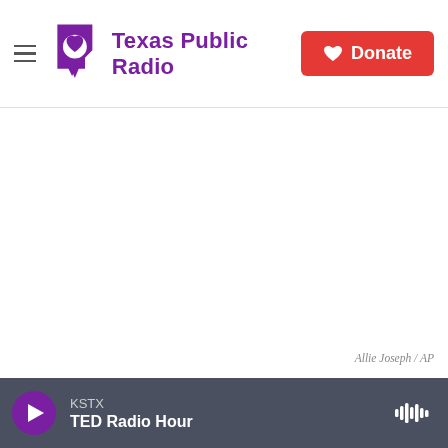Texas Public Radio | Donate
[Figure (photo): White/blank image area representing a photo from the New York Stock Exchange, credited to Allie Joseph / AP]
Allie Joseph / AP
In this photo provided by the New York Stock Exchange, a trader works on
KSTX | TED Radio Hour